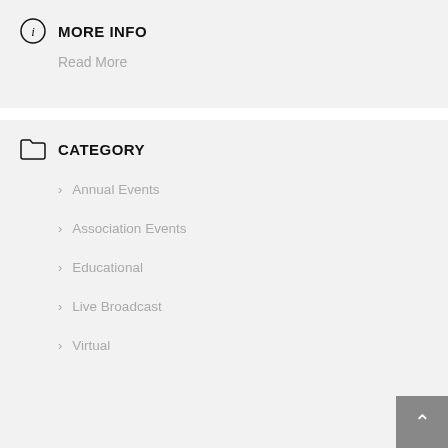MORE INFO
Read More
CATEGORY
Annual Events
Association Events
Educational
Live Broadcast
Virtual